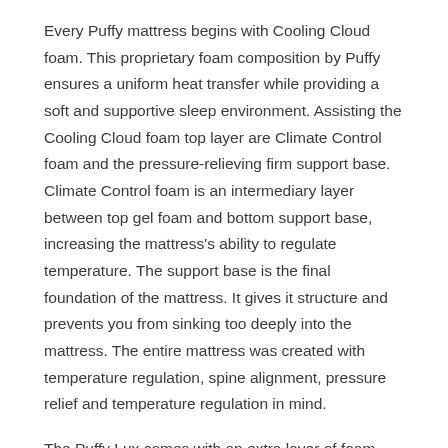Every Puffy mattress begins with Cooling Cloud foam. This proprietary foam composition by Puffy ensures a uniform heat transfer while providing a soft and supportive sleep environment. Assisting the Cooling Cloud foam top layer are Climate Control foam and the pressure-relieving firm support base. Climate Control foam is an intermediary layer between top gel foam and bottom support base, increasing the mattress's ability to regulate temperature. The support base is the final foundation of the mattress. It gives it structure and prevents you from sinking too deeply into the mattress. The entire mattress was created with temperature regulation, spine alignment, pressure relief and temperature regulation in mind.
The Puffy Lux comes with an extra layer of foam, the Plush Dual Cloud Foam. This foam gives you two additional inches and helps to ease tension from long days. Both the Puffy Lux, and Original are covered in hypoallergenic and grippy bottom and top mattress